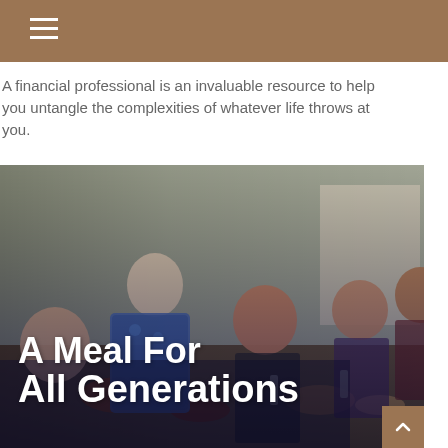A financial professional is an invaluable resource to help you untangle the complexities of whatever life throws at you.
[Figure (photo): Multi-generational family sharing a meal together, laughing and enjoying food around a table filled with dishes and drinks. An older woman with gray hair stands and serves food. Text overlay reads 'A Meal For All Generations'.]
A Meal For All Generations